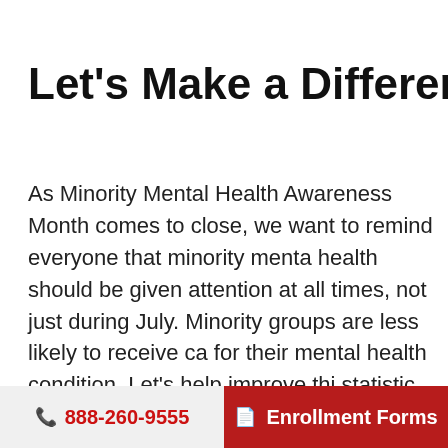Let's Make a Difference
As Minority Mental Health Awareness Month comes to close, we want to remind everyone that minority mental health should be given attention at all times, not just during July. Minority groups are less likely to receive care for their mental health condition. Let's help improve this statistic and improve access to care for minority communities.
To help improve access to care, Sunray Specialty
888-260-9555  Enrollment Forms